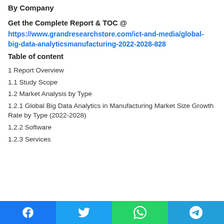By Company
Get the Complete Report & TOC @
https://www.grandresearchstore.com/ict-and-media/global-big-data-analyticsmanufacturing-2022-2028-828
Table of content
1 Report Overview
1.1 Study Scope
1.2 Market Analysis by Type
1.2.1 Global Big Data Analytics in Manufacturing Market Size Growth Rate by Type (2022-2028)
1.2.2 Software
1.2.3 Services